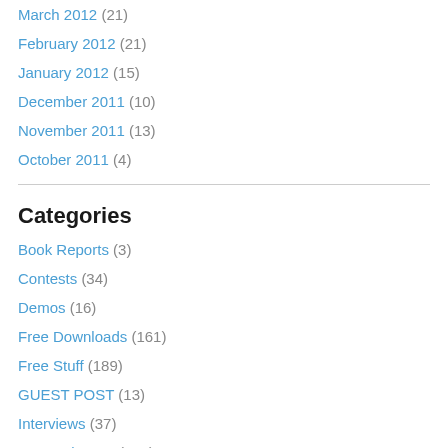March 2012 (21)
February 2012 (21)
January 2012 (15)
December 2011 (10)
November 2011 (13)
October 2011 (4)
Categories
Book Reports (3)
Contests (34)
Demos (16)
Free Downloads (161)
Free Stuff (189)
GUEST POST (13)
Interviews (37)
New Releases (428)
Pittsburgh (261)
Reviews (452)
Shows (250)